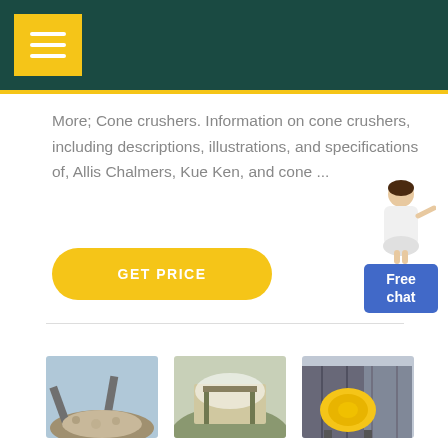More; Cone crushers. Information on cone crushers, including descriptions, illustrations, and specifications of, Allis Chalmers, Kue Ken, and cone ...
GET PRICE
[Figure (photo): Person/assistant figure with Free chat button]
[Figure (photo): Cone crusher / aggregate processing plant site photo 1]
[Figure (photo): Cone crusher / aggregate processing plant site photo 2]
[Figure (photo): Yellow industrial ball mill machinery photo]